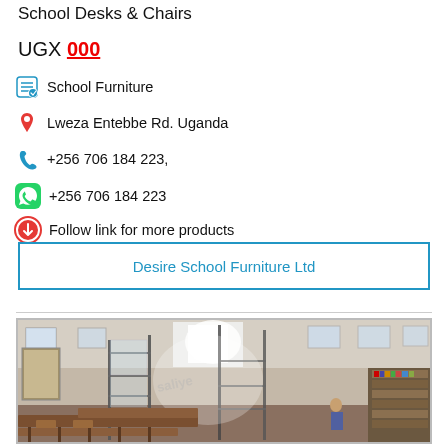School Desks & Chairs
UGX 000
School Furniture
Lweza Entebbe Rd. Uganda
+256 706 184 223,
+256 706 184 223
Follow link for more products
Desire School Furniture Ltd
[Figure (photo): Interior of a school room or library with rows of wooden desks and chairs, metal shelf structures in foreground, bookshelves and posters on walls in background, bright windows]